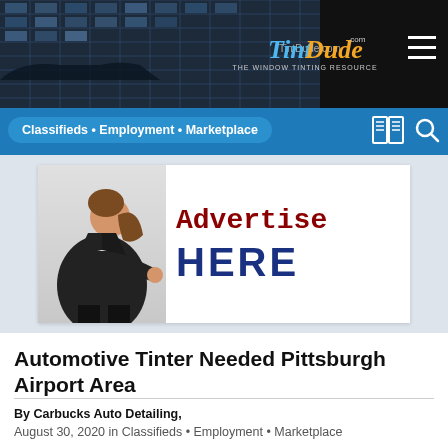[Figure (screenshot): TintDude website header with building background and orange/blue logo with hamburger menu]
Classifieds • Employment • Marketplace
[Figure (illustration): Advertise HERE banner ad with woman pushing a sign]
Automotive Tinter Needed Pittsburgh Airport Area
By Carbucks Auto Detailing,
August 30, 2020 in Classifieds • Employment • Marketplace